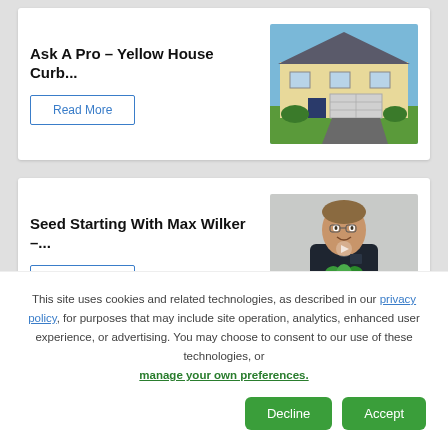Ask A Pro – Yellow House Curb...
Read More
[Figure (photo): Photo of a yellow suburban house with a two-car garage, dark roof, green lawn, and driveway.]
Seed Starting With Max Wilker –...
Read More
[Figure (photo): Photo of a person in a dark shirt holding green plants, standing in front of a white wall.]
This site uses cookies and related technologies, as described in our privacy policy, for purposes that may include site operation, analytics, enhanced user experience, or advertising. You may choose to consent to our use of these technologies, or manage your own preferences.